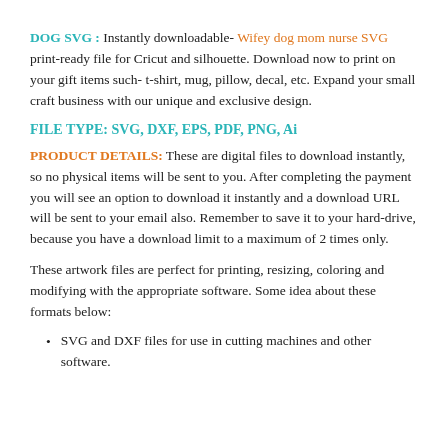DOG SVG : Instantly downloadable- Wifey dog mom nurse SVG print-ready file for Cricut and silhouette. Download now to print on your gift items such- t-shirt, mug, pillow, decal, etc. Expand your small craft business with our unique and exclusive design.
FILE TYPE: SVG, DXF, EPS, PDF, PNG, Ai
PRODUCT DETAILS: These are digital files to download instantly, so no physical items will be sent to you. After completing the payment you will see an option to download it instantly and a download URL will be sent to your email also. Remember to save it to your hard-drive, because you have a download limit to a maximum of 2 times only.
These artwork files are perfect for printing, resizing, coloring and modifying with the appropriate software. Some idea about these formats below:
SVG and DXF files for use in cutting machines and other software.